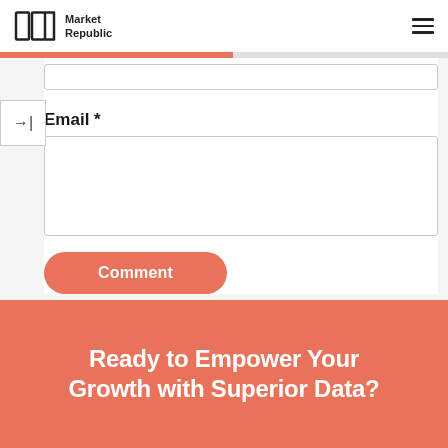Market Republic
Email *
Comment
Ready to Empower Your Growth with Superior Data?